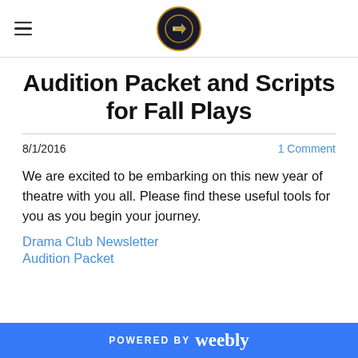Navigation bar with hamburger menu and logo
Audition Packet and Scripts for Fall Plays
8/1/2016   1 Comment
We are excited to be embarking on this new year of theatre with you all. Please find these useful tools for you as you begin your journey.
Drama Club Newsletter
Audition Packet
POWERED BY weebly